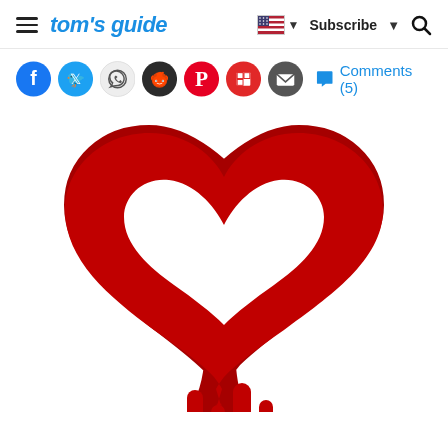tom's guide — Subscribe — Search
[Figure (other): Social sharing icons row: Facebook, Twitter, WhatsApp, Reddit, Pinterest, Flipboard, Email, and Comments (5) link]
[Figure (illustration): Heartbleed logo — a red outlined heart shape dripping blood (dark red drips hanging from the bottom), the iconic Heartbleed vulnerability logo]